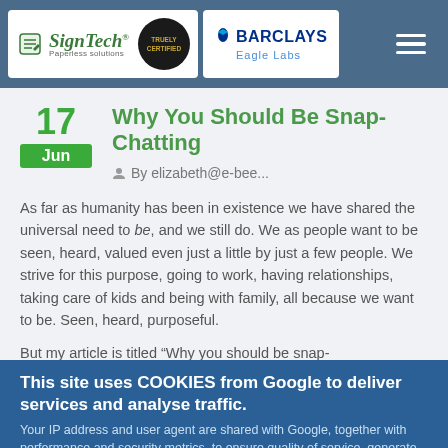SignTech Paperless solutions | BARCLAYS Eagle Labs
Why You Should Be Snap-Chatting
17 Jun
By elizabeth@e-bee...
As far as humanity has been in existence we have shared the universal need to be, and we still do. We as people want to be seen, heard, valued even just a little by just a few people. We strive for this purpose, going to work, having relationships, taking care of kids and being with family, all because we want to be. Seen, heard, purposeful.
But my article is titled “Why you should be snap-
This site uses COOKIES from Google to deliver services and analyse traffic.
Your IP address and user agent are shared with Google, together with performance and security metrics, to ensure quality of service, generate